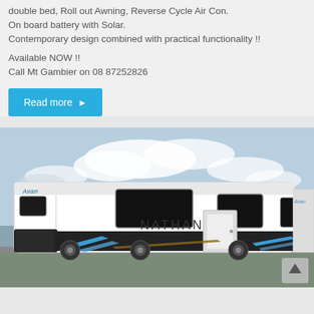double bed, Roll out Awning, Reverse Cycle Air Con.
On board battery with Solar.
Contemporary design combined with practical functionality !!
Available NOW !!
Call Mt Gambier on 08 87252826
Read more
[Figure (photo): Photograph of a white Avan Nathan caravan parked outdoors under a partly cloudy sky. The side of the caravan shows the brand name 'Avan' and model name 'NATHAN' in large letters, with blue and brown decorative stripes near the base.]